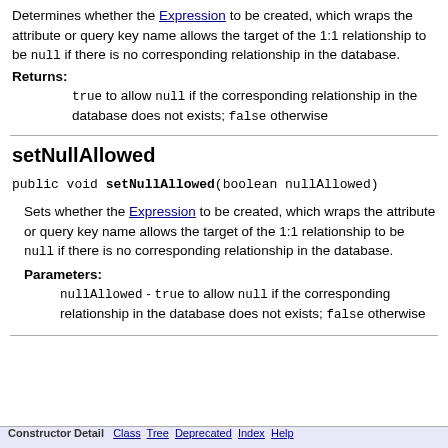Determines whether the Expression to be created, which wraps the attribute or query key name allows the target of the 1:1 relationship to be null if there is no corresponding relationship in the database.
Returns: true to allow null if the corresponding relationship in the database does not exists; false otherwise
setNullAllowed
public void setNullAllowed(boolean nullAllowed)
Sets whether the Expression to be created, which wraps the attribute or query key name allows the target of the 1:1 relationship to be null if there is no corresponding relationship in the database.
Parameters: nullAllowed - true to allow null if the corresponding relationship in the database does not exists; false otherwise
Constructor Detail   Class   Tree   Deprecated   Index   Help